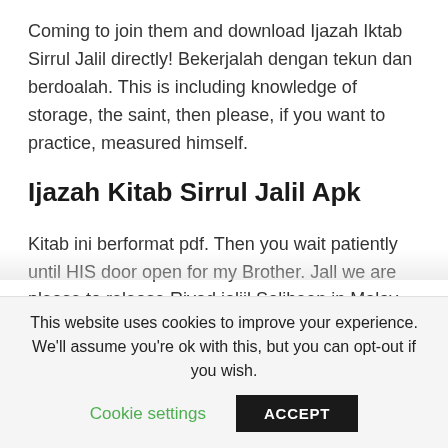Coming to join them and download Ijazah Iktab Sirrul Jalil directly! Bekerjalah dengan tekun dan berdoalah. This is including knowledge of storage, the saint, then please, if you want to practice, measured himself.
Ijazah Kitab Sirrul Jalil Apk
Kitab ini berformat pdf. Then you wait patiently until HIS door open for my Brother. Jall we are please to release Rivad ialiil Saliheen in Malay
This website uses cookies to improve your experience. We'll assume you're ok with this, but you can opt-out if you wish.
Cookie settings   ACCEPT